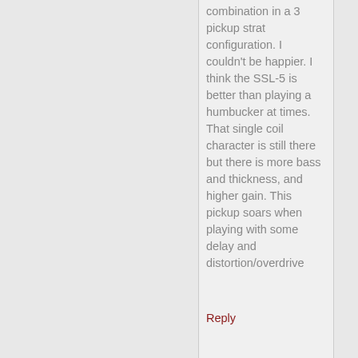combination in a 3 pickup strat configuration. I couldn't be happier. I think the SSL-5 is better than playing a humbucker at times. That single coil character is still there but there is more bass and thickness, and higher gain. This pickup soars when playing with some delay and distortion/overdrive
Reply